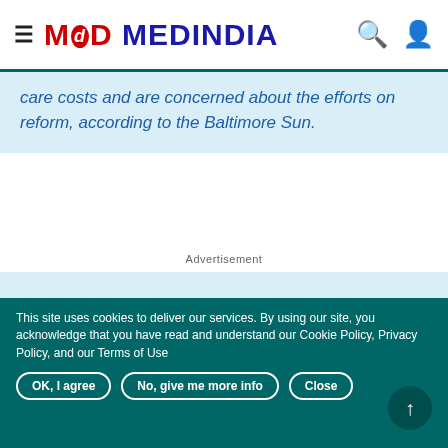MEDINDIA
care costs and are concerned about the efforts on reform, according to the Baltimore Sun.
Advertisement
[Figure (photo): Medical caduceus symbol (winged staff with serpents) on dark blue background]
$10 Billion Provision May Aid Retired Autoworkers: NFIB Opposes House Plan
This site uses cookies to deliver our services. By using our site, you acknowledge that you have read and understand our Cookie Policy, Privacy Policy, and our Terms of Use